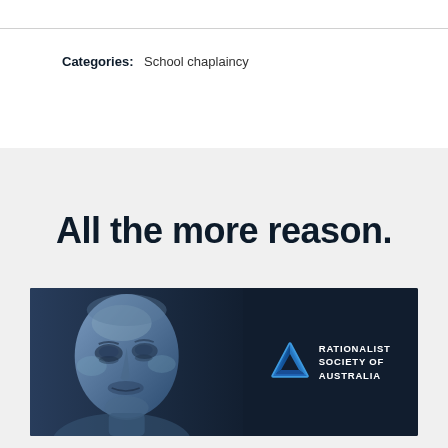Categories:  School chaplaincy
All the more reason.
[Figure (illustration): Rationalist Society of Australia banner image featuring a classical marble bust sculpture on the left half against a dark blue-black background, and on the right side the RSA logo (blue triangular shape) with text 'RATIONALIST SOCIETY OF AUSTRALIA' in white.]